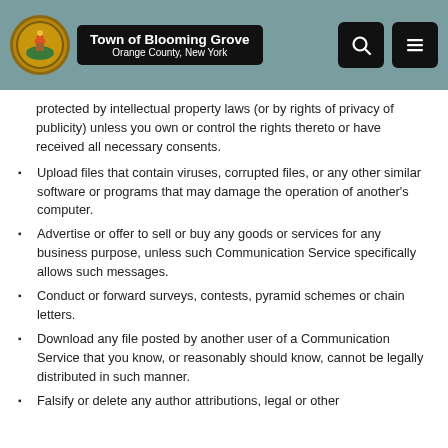Town of Blooming Grove — Orange County, New York
protected by intellectual property laws (or by rights of privacy of publicity) unless you own or control the rights thereto or have received all necessary consents.
Upload files that contain viruses, corrupted files, or any other similar software or programs that may damage the operation of another's computer.
Advertise or offer to sell or buy any goods or services for any business purpose, unless such Communication Service specifically allows such messages.
Conduct or forward surveys, contests, pyramid schemes or chain letters.
Download any file posted by another user of a Communication Service that you know, or reasonably should know, cannot be legally distributed in such manner.
Falsify or delete any author attributions, legal or other